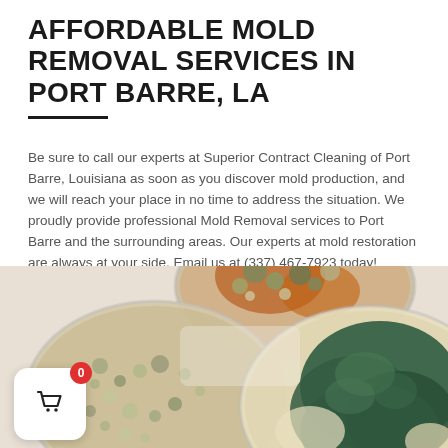AFFORDABLE MOLD REMOVAL SERVICES IN PORT BARRE, LA
Be sure to call our experts at Superior Contract Cleaning of Port Barre, Louisiana as soon as you discover mold production, and we will reach your place in no time to address the situation. We proudly provide professional Mold Removal services to Port Barre and the surrounding areas. Our experts at mold restoration are always at your side. Email us at (337) 467-7923 today!
[Figure (photo): Close-up photo of three petri dishes containing various mold cultures in different colors and growth stages — green, white, and orange molds visible on growth medium backgrounds.]